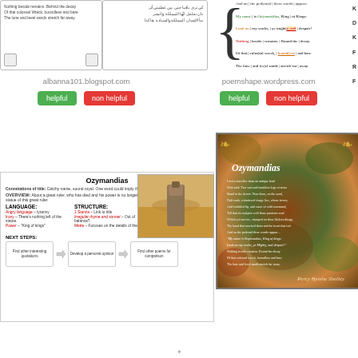[Figure (screenshot): Screenshot of albanna101.blogspot.com showing Ozymandias poem analysis]
[Figure (screenshot): Screenshot with Arabic text Ozymandias translation]
[Figure (screenshot): Screenshot of poemshape.wordpress.com showing annotated poem lines with letters K, D, K, F, R, F]
albanna101.blogspot.com
poemshape.wordpress.com
helpful
non helpful
helpful
non helpful
[Figure (infographic): Ozymandias study card with sections: Connotations of title, Overview, Language, Structure, Themes/Ideas, Next Steps]
[Figure (photo): Photo of desert statue/sculpture]
[Figure (illustration): Ozymandias illustrated poem card with autumn background by Percy Bysshe Shelley]